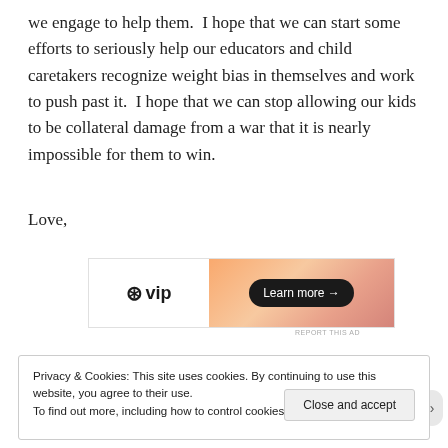we engage to help them.  I hope that we can start some efforts to seriously help our educators and child caretakers recognize weight bias in themselves and work to push past it.  I hope that we can stop allowing our kids to be collateral damage from a war that it is nearly impossible for them to win.
Love,
[Figure (other): WordPress VIP advertisement banner with logo on left and gradient background on right with 'Learn more →' button]
REPORT THIS AD
Privacy & Cookies: This site uses cookies. By continuing to use this website, you agree to their use.
To find out more, including how to control cookies, see here: Cookie Policy
Close and accept